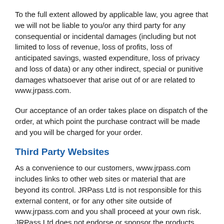To the full extent allowed by applicable law, you agree that we will not be liable to you/or any third party for any consequential or incidental damages (including but not limited to loss of revenue, loss of profits, loss of anticipated savings, wasted expenditure, loss of privacy and loss of data) or any other indirect, special or punitive damages whatsoever that arise out of or are related to www.jrpass.com.
Our acceptance of an order takes place on dispatch of the order, at which point the purchase contract will be made and you will be charged for your order.
Third Party Websites
As a convenience to our customers, www.jrpass.com includes links to other web sites or material that are beyond its control. JRPass Ltd is not responsible for this external content, or for any other site outside of www.jrpass.com and you shall proceed at your own risk. JRPass Ltd does not endorse or sponsor the products, services or content you access and / or purchase through any linked site. You will be subject to the terms and conditions of use for all and any such linked site and any goods or services purchased therefrom. JRPass Ltd has no liability, howsoever arising, in respect of such linked sites,